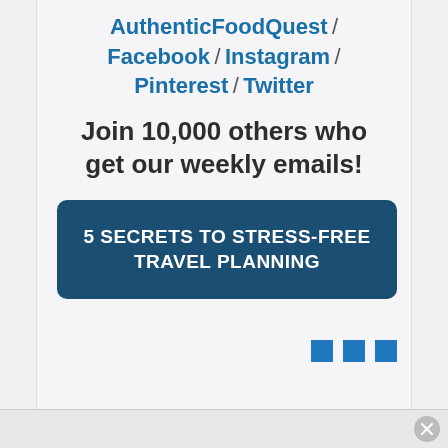AuthenticFoodQuest / Facebook / Instagram / Pinterest / Twitter
Join 10,000 others who get our weekly emails!
5 SECRETS TO STRESS-FREE TRAVEL PLANNING